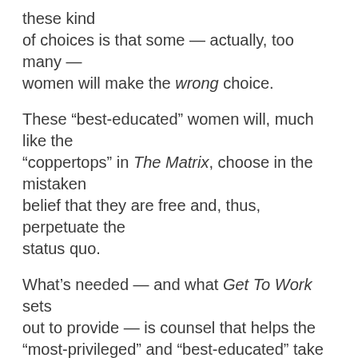these kind of choices is that some — actually, too many — women will make the wrong choice.
These “best-educated” women will, much like the “coppertops” in The Matrix, choose in the mistaken belief that they are free and, thus, perpetuate the status quo.
What’s needed — and what Get To Work sets out to provide — is counsel that helps the “most-privileged” and “best-educated” take the red pill and assure women their rightful place among the flourishing “elites” and “rulers.”
This counsel includes avoiding emulating Frida Kahlo (is it